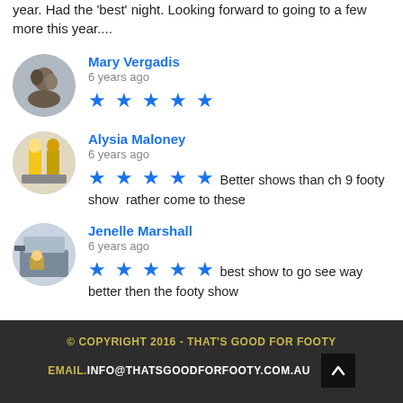year. Had the 'best' night. Looking forward to going to a few more this year....
Mary Vergadis
6 years ago
★★★★★
Alysia Maloney
6 years ago
★★★★★ Better shows than ch 9 footy show  rather come to these
Jenelle Marshall
6 years ago
★★★★★ best show to go see way better then the footy show
© COPYRIGHT 2016 - THAT'S GOOD FOR FOOTY
EMAIL.INFO@THATSGOODFORFOOTY.COM.AU